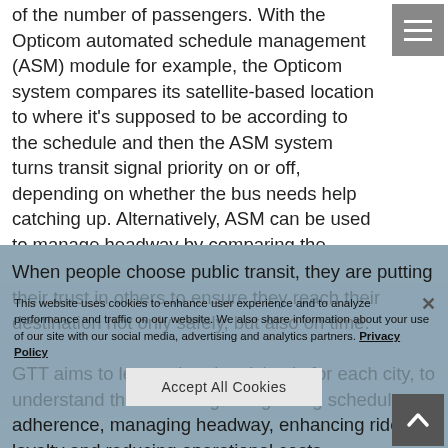of the number of passengers. With the Opticom automated schedule management (ASM) module for example, the Opticom system compares its satellite-based location to where it's supposed to be according to the schedule and then the ASM system turns transit signal priority on or off, depending on whether the bus needs help catching up. Alternatively, ASM can be used to manage headway by comparing the satellite-based locations of all buses on the route and then adjusting the transit signal priority of each accordingly.
When people choose public transit, they are putting their trust in others to ensure they reach their destination not only safely, but also on time.
GTT aims to learn what the vision is for each city, to understand their challenges regarding schedule adherence, managing headway, enhancing rider loyalty and reducing operational costs.
This website uses cookies to enhance user experience and to analyze performance and traffic on our website. We also share information about your use of our site with our social media, advertising and analytics partners. Privacy Policy